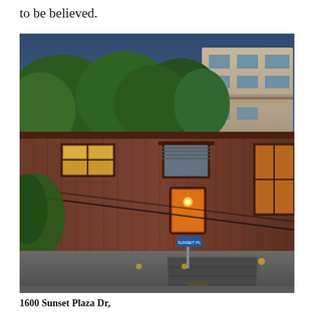to be believed.
[Figure (photo): Exterior photo of a mid-century modern home at 1600 Sunset Plaza Dr. The structure features horizontal wood siding in a warm reddish-brown tone, large windows with warm interior lighting, a projecting upper level supported by angled posts over a concrete garage level. Green trees and hillside buildings visible in background.]
1600 Sunset Plaza Dr,